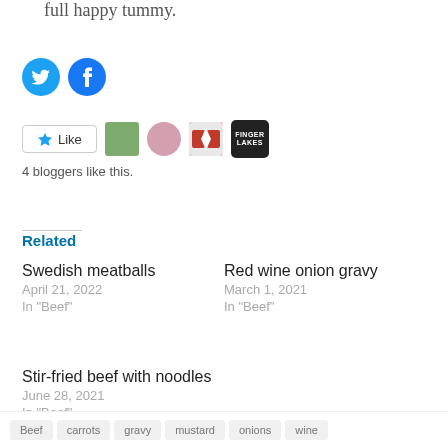full happy tummy.
[Figure (logo): Twitter and Facebook social share icon buttons]
[Figure (infographic): Like button and 4 blogger avatars]
4 bloggers like this.
Related
Swedish meatballs
April 21, 2022
In "Beef"
Red wine onion gravy
March 1, 2021
In "Beef"
Stir-fried beef with noodles
June 28, 2021
In "Beef"
Beef   carrots   gravy   mustard   onions   wine